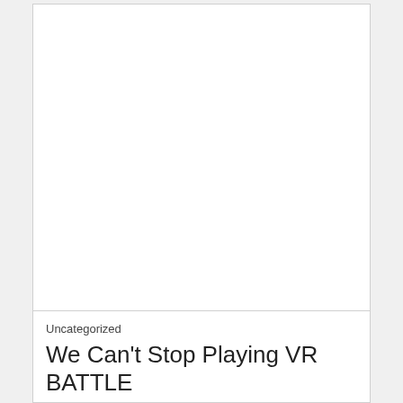[Figure (photo): Large white/blank image area at the top of a content card]
Uncategorized
We Can't Stop Playing VR BATTLE